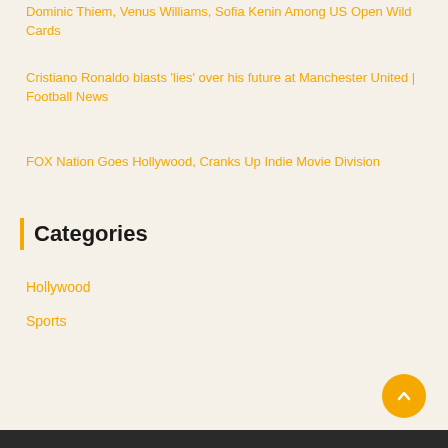Dominic Thiem, Venus Williams, Sofia Kenin Among US Open Wild Cards
Cristiano Ronaldo blasts 'lies' over his future at Manchester United | Football News
FOX Nation Goes Hollywood, Cranks Up Indie Movie Division
Categories
Hollywood
Sports